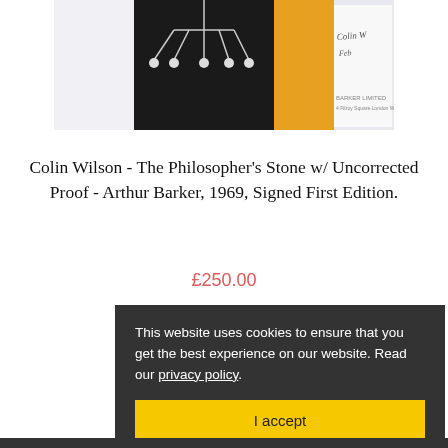[Figure (photo): Partial view of a book titled The Philosopher's Stone by Colin Wilson, showing a dark cover with a chandelier-like design and an orange/yellow section, alongside a handwritten signature page from Arthur Barker publisher.]
Colin Wilson - The Philosopher's Stone w/ Uncorrected Proof - Arthur Barker, 1969, Signed First Edition.
£250.00
This website uses cookies to ensure that you get the best experience on our website. Read our privacy policy.
I accept